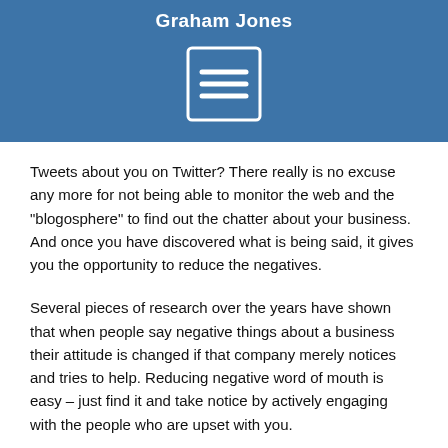Graham Jones
[Figure (other): Menu/hamburger icon — white square outline with three horizontal lines inside, on blue background]
Tweets about you on Twitter? There really is no excuse any more for not being able to monitor the web and the "blogosphere" to find out the chatter about your business. And once you have discovered what is being said, it gives you the opportunity to reduce the negatives.
Several pieces of research over the years have shown that when people say negative things about a business their attitude is changed if that company merely notices and tries to help. Reducing negative word of mouth is easy – just find it and take notice by actively engaging with the people who are upset with you.
Substantial business growth is possible if you have just a small decrease in negative word of mouth coupled with a tiny increase in positive mentions of your company. In an economic downturn